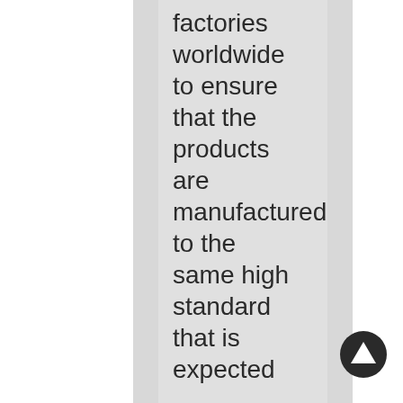factories worldwide to ensure that the products are manufactured to the same high standard that is expected
[Figure (illustration): A circular navigation/up arrow icon in dark gray/black, positioned at bottom right corner of the page.]